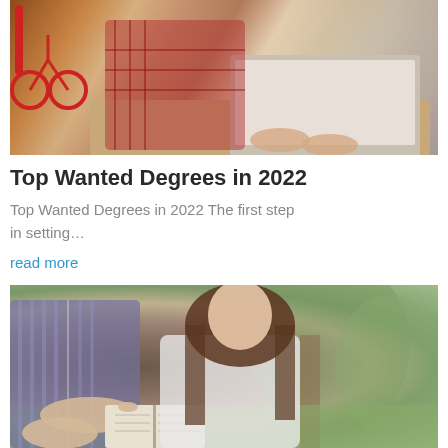[Figure (photo): Person with plaid shirt working on a laptop at a wooden table, red bicycle visible in background]
Top Wanted Degrees in 2022
Top Wanted Degrees in 2022 The first step in setting…
read more
[Figure (photo): Two people sitting outdoors near trees, one pointing at an open book/bible, woman with long brown hair wearing white jacket]